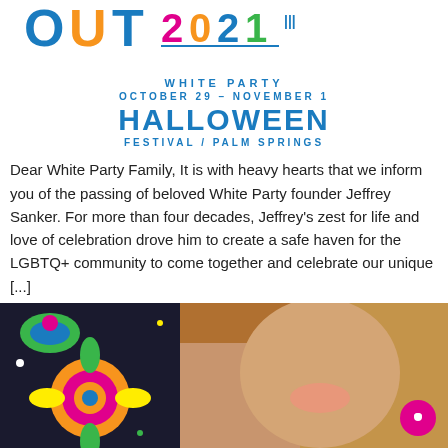[Figure (logo): White Party Halloween Festival / Palm Springs logo with stylized colorful text and branding. Text reads: WHITE PARTY, OCTOBER 29 – NOVEMBER 1, HALLOWEEN, FESTIVAL / PALM SPRINGS]
Dear White Party Family, It is with heavy hearts that we inform you of the passing of beloved White Party founder Jeffrey Sanker. For more than four decades, Jeffrey's zest for life and love of celebration drove him to create a safe haven for the LGBTQ+ community to come together and celebrate our unique [...]
Shangela Presented With Charity Award At Vallarta Pride 2021 Kickoff
[Figure (photo): Photo of a smiling woman with long hair holding a colorful beaded folk art figure (Huichol art), with a pink/magenta circular chat bubble icon in the bottom right corner]